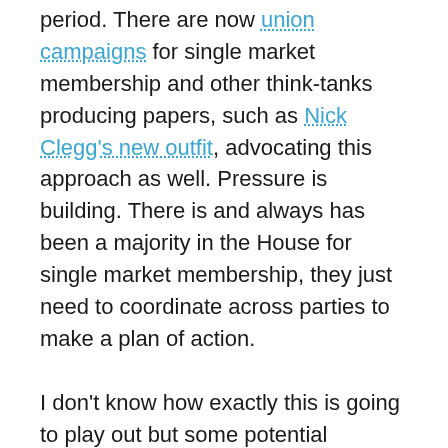period. There are now union campaigns for single market membership and other think-tanks producing papers, such as Nick Clegg's new outfit, advocating this approach as well. Pressure is building. There is and always has been a majority in the House for single market membership, they just need to coordinate across parties to make a plan of action.

I don't know how exactly this is going to play out but some potential scenarios in order of success: it becomes clear by the next round of Brexit negotiations that things are not going well. The pound is dropping and there's no clear leadership, and people are really pissed off with Theresa May. She will probably face a leadership challenge after the next party conference. That leader will have to call an election given the disaster that occurred at the last one, and I suspect given the current winds across the